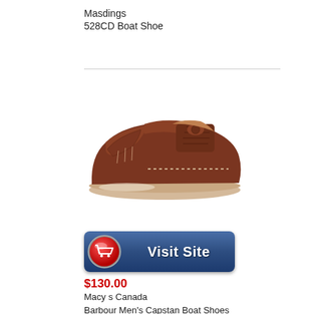Masdings
528CD Boat Shoe
[Figure (photo): Side view of a brown leather Barbour Men's Capstan Boat Shoe with laces and moccasin stitching, on a light rubber sole.]
[Figure (other): Blue 'Visit Site' button with a red shopping cart circle icon on the left and white bold text 'Visit Site' on the blue portion.]
$130.00
Macy s Canada
Barbour Men's Capstan Boat Shoes
Men's Shoes